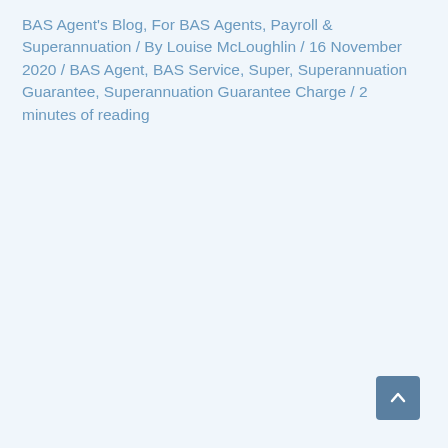BAS Agent's Blog, For BAS Agents, Payroll & Superannuation / By Louise McLoughlin / 16 November 2020 / BAS Agent, BAS Service, Super, Superannuation Guarantee, Superannuation Guarantee Charge / 2 minutes of reading